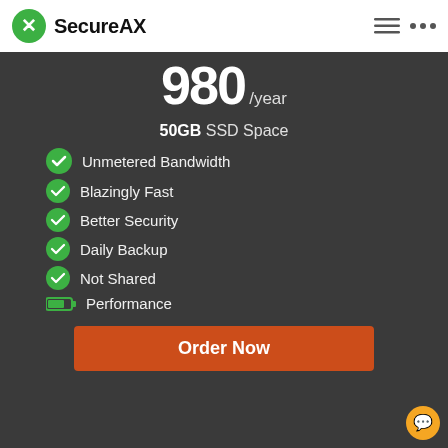SecureAX
980 /year
50GB SSD Space
Unmetered Bandwidth
Blazingly Fast
Better Security
Daily Backup
Not Shared
Performance
Order Now